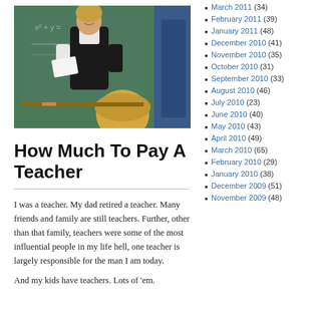[Figure (photo): A smiling female teacher in a black vest standing in front of a green chalkboard, interacting with a student]
How Much To Pay A Teacher
I was a teacher.  My dad retired a teacher.  Many friends and family are still teachers.  Further, other than that family, teachers were some of the most influential people in my life hell, one teacher is largely responsible for the man I am today.
And my kids have teachers.  Lots of 'em.
March 2011 (34)
February 2011 (39)
January 2011 (48)
December 2010 (41)
November 2010 (35)
October 2010 (31)
September 2010 (33)
August 2010 (46)
July 2010 (23)
June 2010 (40)
May 2010 (43)
April 2010 (49)
March 2010 (65)
February 2010 (29)
January 2010 (38)
December 2009 (51)
November 2009 (48)